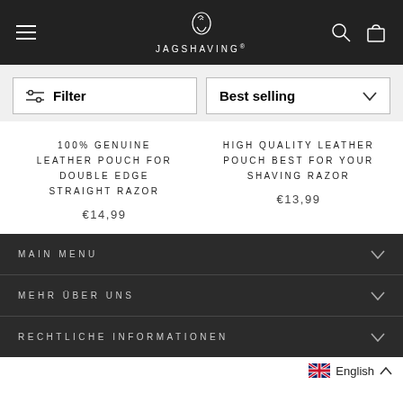JAGSHAVING. (logo with hamburger menu, search icon, cart icon)
Filter | Best selling
100% GENUINE LEATHER POUCH FOR DOUBLE EDGE STRAIGHT RAZOR
€14,99
HIGH QUALITY LEATHER POUCH BEST FOR YOUR SHAVING RAZOR
€13,99
MAIN MENU
MEHR ÜBER UNS
RECHTLICHE INFORMATIONEN
English